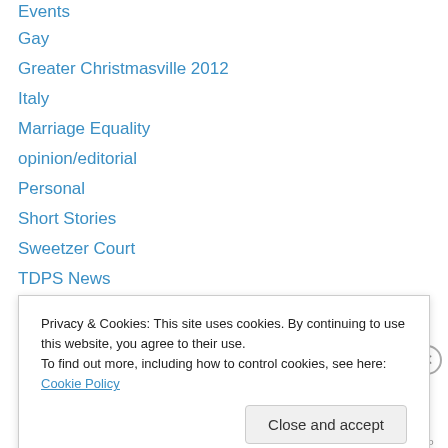Events
Gay
Greater Christmasville 2012
Italy
Marriage Equality
opinion/editorial
Personal
Short Stories
Sweetzer Court
TDPS News
The Dinner Party Show
The Perfect Party
The Princes Psalm
Uncategorized
Privacy & Cookies: This site uses cookies. By continuing to use this website, you agree to their use. To find out more, including how to control cookies, see here: Cookie Policy